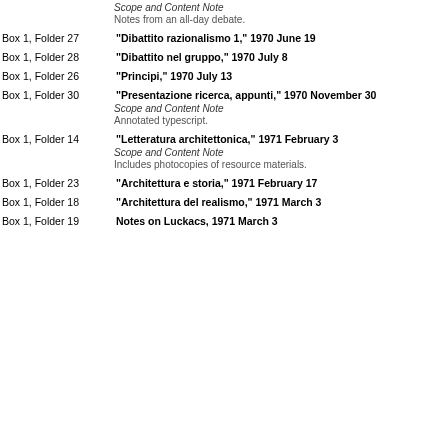Scope and Content Note
Notes from an all-day debate.
Box 1, Folder 27   "Dibattito razionalismo 1," 1970 June 19
Box 1, Folder 28   "Dibattito nel gruppo," 1970 July 8
Box 1, Folder 26   "Principi," 1970 July 13
Box 1, Folder 30   "Presentazione ricerca, appunti," 1970 November 30
Scope and Content Note
Annotated typescript.
Box 1, Folder 14   "Letteratura architettonica," 1971 February 3
Scope and Content Note
Includes photocopies of resource materials.
Box 1, Folder 23   "Architettura e storia," 1971 February 17
Box 1, Folder 18   "Architettura del realismo," 1971 March 3
Box 1, Folder 19   Notes on Luckacs, 1971 March 3